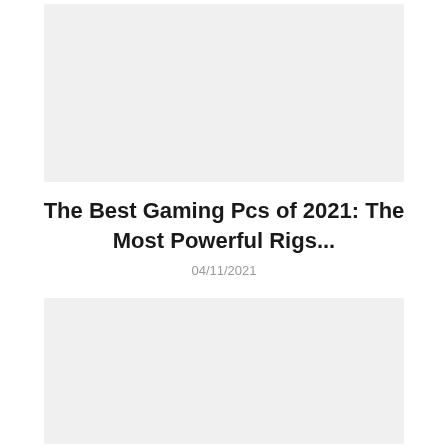[Figure (photo): Top image placeholder block with light gray background]
The Best Gaming Pcs of 2021: The Most Powerful Rigs...
04/11/2021
[Figure (photo): Bottom image placeholder block with light gray background]